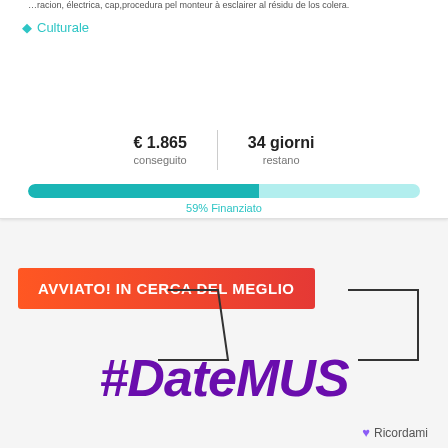…racion, électrica, cap,procedura pel monteur à esclairer al résidu de los colera.
Culturale
€ 1.865 conseguito
34 giorni restano
[Figure (infographic): Horizontal progress bar showing 59% funded, teal filled portion on left, light teal unfilled on right]
59% Finanziato
[Figure (infographic): Orange-red banner badge with white text 'AVVIATO! IN CERCA DEL MEGLIO', two trapezoid outline shapes, and large purple italic hashtag text '#DateMUS' below]
#DateMUS
Ricordami